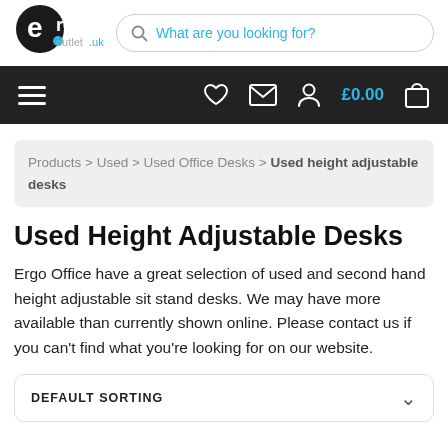[Figure (logo): Ergo Outlet UK logo with circular black icon and text]
What are you looking for?
Hamburger menu, heart, mail, person icons, £0.00, cart
Products > Used > Used Office Desks > Used height adjustable desks
Used Height Adjustable Desks
Ergo Office have a great selection of used and second hand height adjustable sit stand desks. We may have more available than currently shown online. Please contact us if you can't find what you're looking for on our website.
DEFAULT SORTING